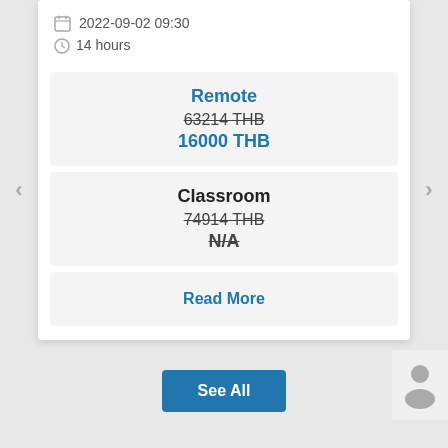2022-09-02 09:30
14 hours
Remote
63214 THB
16000 THB
Classroom
74914 THB
N/A
Read More
See All